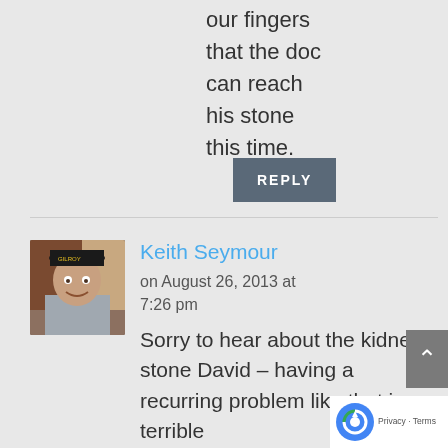our fingers that the doc can reach his stone this time.
REPLY
Keith Seymour
on August 26, 2013 at 7:26 pm
Sorry to hear about the kidney stone David – having a recurring problem like that is terrible